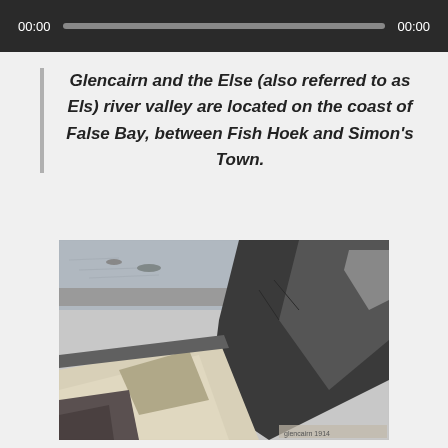00:00   00:00
Glencairn and the Else (also referred to as Els) river valley are located on the coast of False Bay, between Fish Hoek and Simon's Town.
[Figure (photo): Black and white aerial photograph of Glencairn Valley showing a coastal mountain, beach, and bay area, taken in 1914.]
Glencairn Valley 1914